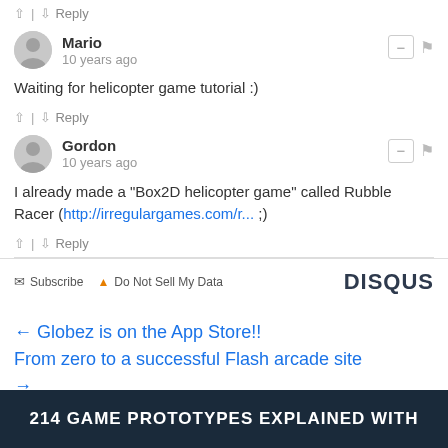↑ | ↓ Reply
Mario
10 years ago
Waiting for helicopter game tutorial :)
↑ | ↓ Reply
Gordon
10 years ago
I already made a "Box2D helicopter game" called Rubble Racer (http://irregulargames.com/r... ;)
↑ | ↓ Reply
✉ Subscribe  ▲ Do Not Sell My Data   DISQUS
← Globez is on the App Store!!
From zero to a successful Flash arcade site →
214 GAME PROTOTYPES EXPLAINED WITH